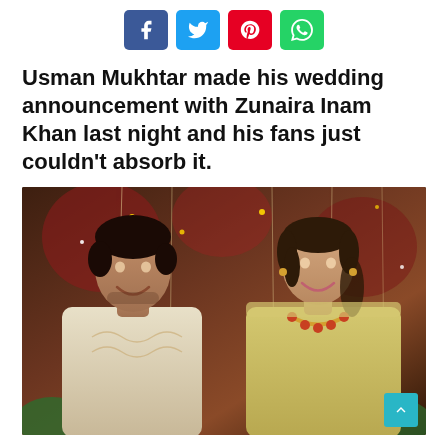[Figure (other): Social media share buttons: Facebook (blue), Twitter (cyan), Pinterest (red), WhatsApp (green)]
Usman Mukhtar made his wedding announcement with Zunaira Inam Khan last night and his fans just couldn't absorb it.
[Figure (photo): Wedding photo of Usman Mukhtar and Zunaira Inam Khan smiling together, decorated background with lights and flowers]